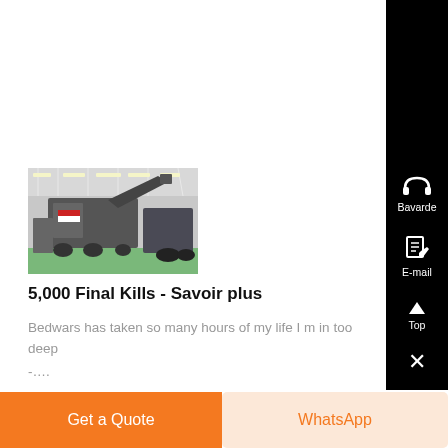[Figure (photo): Industrial machinery (crushers/conveyors) inside a large warehouse with overhead lighting, green floor markings visible]
5,000 Final Kills - Savoir plus
Bedwars has taken so many hours of my life I m in too deep -....
[Figure (other): Black sidebar with headphones icon labeled 'Bavarde', document/edit icon labeled 'E-mail', up arrow labeled 'Top', and X close button]
Get a Quote
WhatsApp